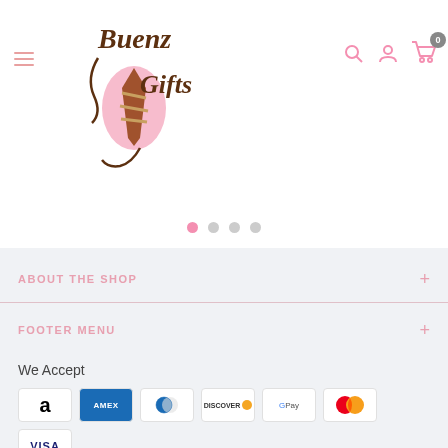[Figure (logo): Buenz Gifts logo - decorative script text with gift/necktie illustration in pink and brown]
[Figure (other): Navigation header with hamburger menu, search icon, account icon, and cart icon (0 items)]
[Figure (other): Carousel pagination dots - 4 dots, first one pink/active, remaining grey]
ABOUT THE SHOP
FOOTER MENU
We Accept
[Figure (other): Payment method icons: Amazon, American Express, Diners Club, Discover, Google Pay, Mastercard, Visa]